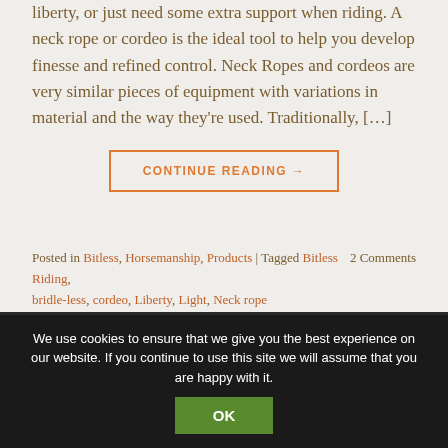liberty, or just need some extra support when riding. A neck rope or cordeo is the ideal tool to help you develop finesse and refined control. Neck Ropes and cordeos are very similar pieces of equipment with variations in material and the way they're used. Traditionally, […]
CONTINUE READING →
Posted in Bitless, Horsemanship, Products | Tagged Bitless Riding, bridle-less, cordeo, Liberty, Light, Neck rope   2 Comments
We use cookies to ensure that we give you the best experience on our website. If you continue to use this site we will assume that you are happy with it.
OK